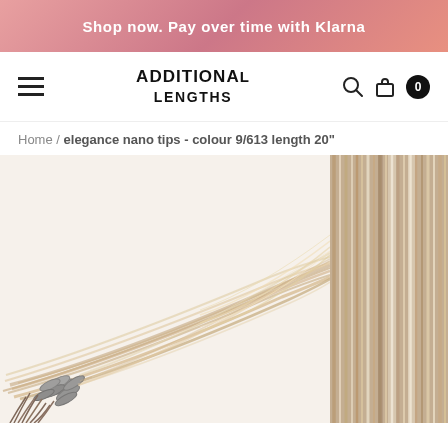Shop now. Pay over time with Klarna
[Figure (screenshot): Website navigation bar with hamburger menu, Additional Lengths logo, search icon, bag icon, and cart count badge showing 0]
Home / elegance nano tips - colour 9/613 length 20"
[Figure (photo): Product photo of elegance nano tip hair extensions in colour 9/613 showing bundled strands with metal nano tip rings and a close-up texture shot of the hair on the right]